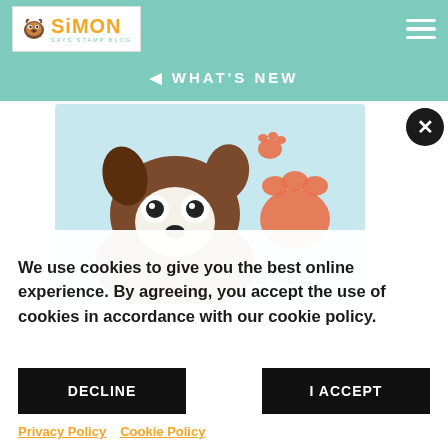Simon Says Stamp Blog - header navigation with logo and hamburger menu
WHAT'S NEW
[Figure (illustration): Cartoon Boston Terrier dog peeking up with paw prints and 'COME SEE' text on light blue background]
We use cookies to give you the best online experience. By agreeing, you accept the use of cookies in accordance with our cookie policy.
DECLINE
I ACCEPT
Privacy Policy   Cookie Policy